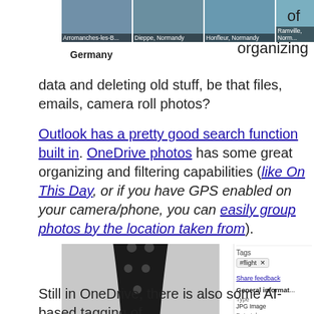[Figure (screenshot): Screenshot of image thumbnails showing location-based photo groups: Arromanches-les-B..., Dieppe Normandy, Honfleur Normandy, Ramville Norm... with 'of' text to the right and 'Germany' label below the thumbnails along with 'organizing' text to the right.]
of organizing data and deleting old stuff, be that files, emails, camera roll photos?
Outlook has a pretty good search function built in. OneDrive photos has some great organizing and filtering capabilities (like On This Day, or if you have GPS enabled on your camera/phone, you can easily group photos by the location taken from).
[Figure (screenshot): Screenshot showing a watch photo in OneDrive with a sidebar showing Tags: #flight, Share feedback, General information, Type: JPG Image, Date taken: 2/4/2018 05:44, Dimensions]
Still in OneDrive, there is also some AI-based tagging of